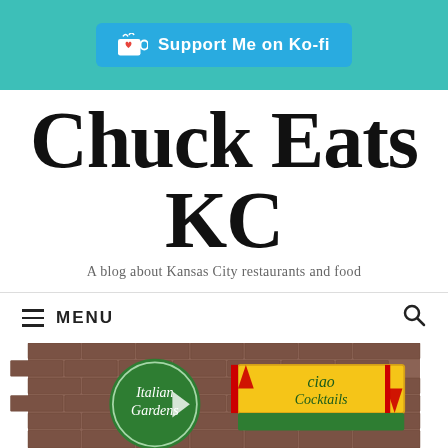Support Me on Ko-fi
Chuck Eats KC
A blog about Kansas City restaurants and food
MENU
[Figure (photo): Photo showing restaurant signs for Italian Gardens and Ciao Cocktails at the bottom of the page]